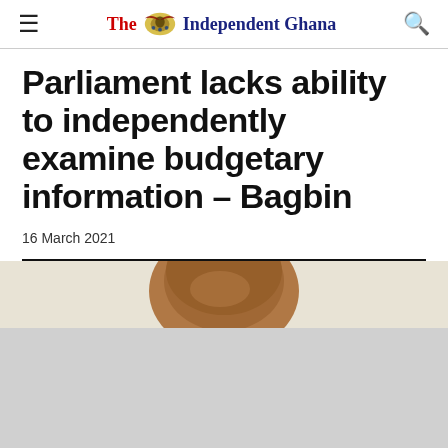The Independent Ghana
Parliament lacks ability to independently examine budgetary information – Bagbin
16 March 2021
[Figure (photo): A photo of a person's head, partially cropped at the top of the frame, with a light beige background.]